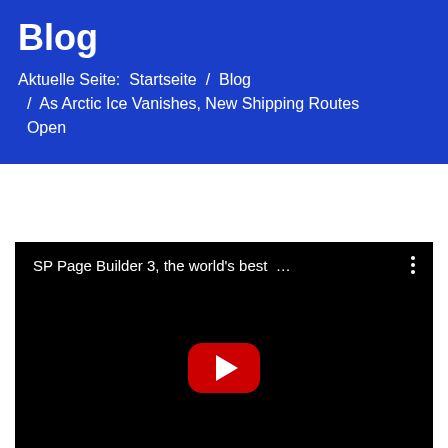Blog
Aktuelle Seite:  Startseite  /  Blog  /  As Arctic Ice Vanishes, New Shipping Routes Open
[Figure (screenshot): Embedded YouTube video player with black background showing title 'SP Page Builder 3, the world's best …' and a red YouTube play button in the center]